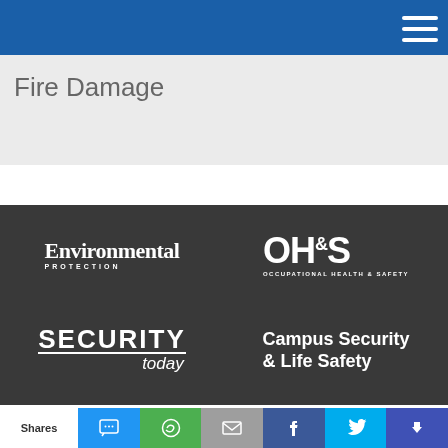Fire Damage
[Figure (logo): Environmental Protection magazine logo - white text on dark background]
[Figure (logo): OH&S Occupational Health & Safety magazine logo - white text on dark background]
[Figure (logo): Security Today magazine logo - white text on dark background]
[Figure (logo): Campus Security & Life Safety magazine logo - white text on dark background]
Shares